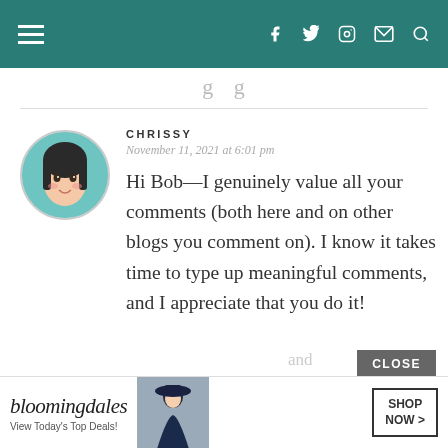Navigation bar with hamburger menu and social icons (Facebook, Twitter, Instagram, Email, Search)
g g (partial heading, cut off at top)
CHRISSY
November 11, 2021 at 6:01 pm

Hi Bob—I genuinely value all your comments (both here and on other blogs you comment on). I know it takes time to type up meaningful comments, and I appreciate that you do it!
CLOSE
[Figure (screenshot): Bloomingdale's advertisement banner with logo, 'View Today's Top Deals!', model image, and SHOP NOW button]